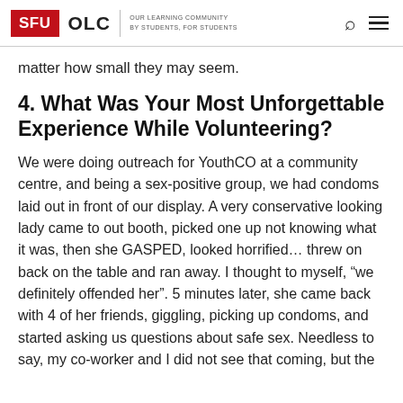SFU OLC | OUR LEARNING COMMUNITY BY STUDENTS, FOR STUDENTS
matter how small they may seem.
4. What Was Your Most Unforgettable Experience While Volunteering?
We were doing outreach for YouthCO at a community centre, and being a sex-positive group, we had condoms laid out in front of our display. A very conservative looking lady came to out booth, picked one up not knowing what it was, then she GASPED, looked horrified… threw on back on the table and ran away. I thought to myself, “we definitely offended her”. 5 minutes later, she came back with 4 of her friends, giggling, picking up condoms, and started asking us questions about safe sex. Needless to say, my co-worker and I did not see that coming, but the